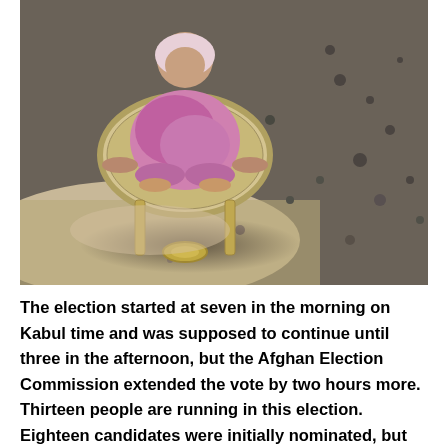[Figure (photo): A person dressed in purple/pink clothing sitting in a wheelbarrow on a rocky/gravelly ground, being transported, photographed from above.]
The election started at seven in the morning on Kabul time and was supposed to continue until three in the afternoon, but the Afghan Election Commission extended the vote by two hours more. Thirteen people are running in this election. Eighteen candidates were initially nominated, but five candidates withdrew